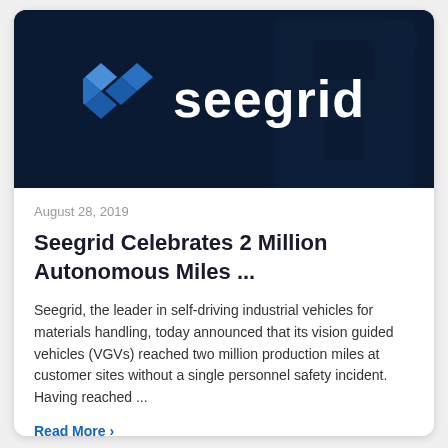[Figure (logo): Seegrid company logo — diamond-shaped blue icon made of four rhombus tiles, followed by the word 'seegrid' in bold white lowercase letters, on a dark navy background with a faint industrial machine in the background]
August 28, 2019
Seegrid Celebrates 2 Million Autonomous Miles ...
Seegrid, the leader in self-driving industrial vehicles for materials handling, today announced that its vision guided vehicles (VGVs) reached two million production miles at customer sites without a single personnel safety incident. Having reached ...
Read More >